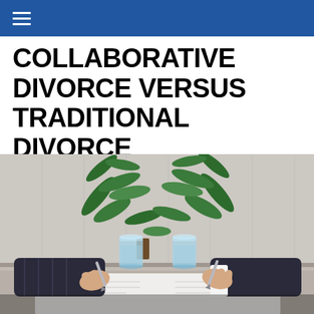COLLABORATIVE DIVORCE VERSUS TRADITIONAL DIVORCE
[Figure (photo): Two people in business attire sitting across from each other at a table, each holding a pen and signing documents, with two blue glasses of water and a green plant in the background.]